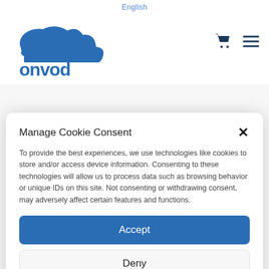English
[Figure (logo): Cloud-shaped logo with stylized text 'onvod' in blue]
Manage Cookie Consent
To provide the best experiences, we use technologies like cookies to store and/or access device information. Consenting to these technologies will allow us to process data such as browsing behavior or unique IDs on this site. Not consenting or withdrawing consent, may adversely affect certain features and functions.
Accept
Deny
View preferences
Cookie Policy  Privacy Policy